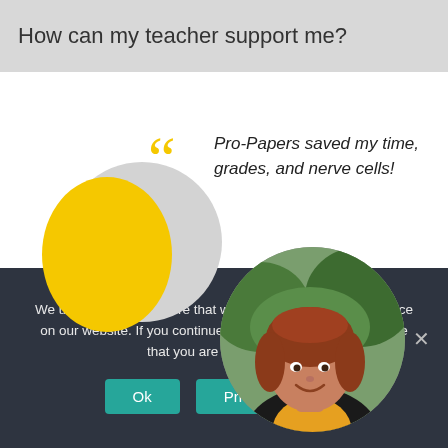How can my teacher support me?
[Figure (illustration): Decorative illustration with a yellow semicircle and gray circle on the left, large yellow quotation marks, italic quote text reading 'Pro-Papers saved my time, grades, and nerve cells!', and a circular portrait photo of a young woman with red/auburn hair smiling, set against a green outdoor background.]
We use cookies to ensure that we give you the best experience on our website. If you continue to use this site we will assume that you are happy with it.